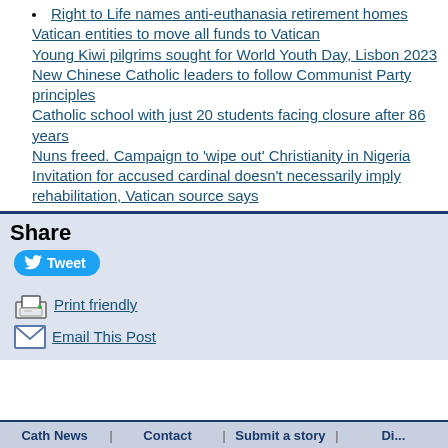Right to Life names anti-euthanasia retirement homes
Vatican entities to move all funds to Vatican
Young Kiwi pilgrims sought for World Youth Day, Lisbon 2023
New Chinese Catholic leaders to follow Communist Party principles
Catholic school with just 20 students facing closure after 86 years
Nuns freed. Campaign to 'wipe out' Christianity in Nigeria
Invitation for accused cardinal doesn't necessarily imply rehabilitation, Vatican source says
Share
Tweet
Print friendly
Email This Post
Cath News | Contact | Submit a story | Ri...